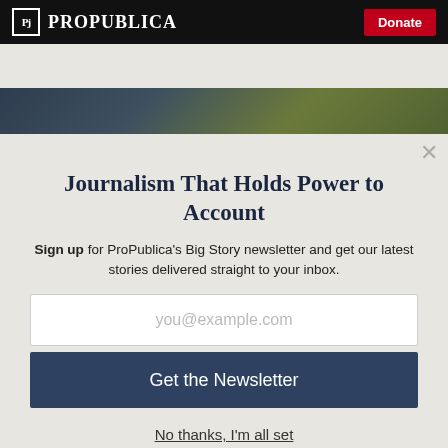ProPublica | Donate
[Figure (photo): Partial photo of a person wearing a dark jacket and yellow-green vest, cropped at torso level]
Journalism That Holds Power to Account
Sign up for ProPublica's Big Story newsletter and get our latest stories delivered straight to your inbox.
you@example.com
Get the Newsletter
No thanks, I'm all set
This site is protected by reCAPTCHA and the Google Privacy Policy and Terms of Service apply.